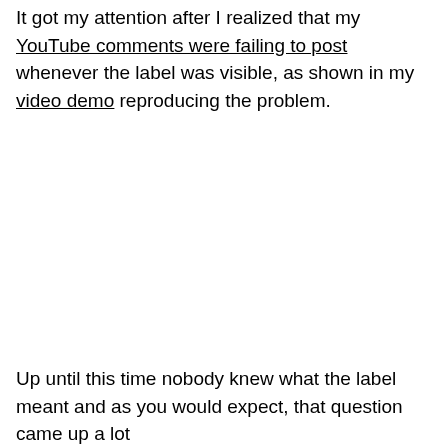It got my attention after I realized that my YouTube comments were failing to post whenever the label was visible, as shown in my video demo reproducing the problem.
Up until this time nobody knew what the label meant and as you would expect, that question came up a lot